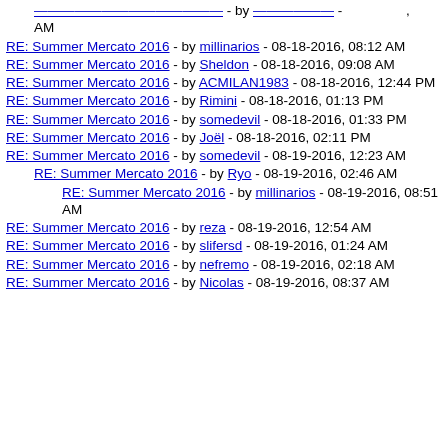RE: Summer Mercato 2016 - by [truncated] - [truncated] AM
RE: Summer Mercato 2016 - by millinarios - 08-18-2016, 08:12 AM
RE: Summer Mercato 2016 - by Sheldon - 08-18-2016, 09:08 AM
RE: Summer Mercato 2016 - by ACMILAN1983 - 08-18-2016, 12:44 PM
RE: Summer Mercato 2016 - by Rimini - 08-18-2016, 01:13 PM
RE: Summer Mercato 2016 - by somedevil - 08-18-2016, 01:33 PM
RE: Summer Mercato 2016 - by Joël - 08-18-2016, 02:11 PM
RE: Summer Mercato 2016 - by somedevil - 08-19-2016, 12:23 AM
RE: Summer Mercato 2016 - by Ryo - 08-19-2016, 02:46 AM
RE: Summer Mercato 2016 - by millinarios - 08-19-2016, 08:51 AM
RE: Summer Mercato 2016 - by reza - 08-19-2016, 12:54 AM
RE: Summer Mercato 2016 - by slifersd - 08-19-2016, 01:24 AM
RE: Summer Mercato 2016 - by nefremo - 08-19-2016, 02:18 AM
RE: Summer Mercato 2016 - by Nicolas - 08-19-2016, 08:37 AM